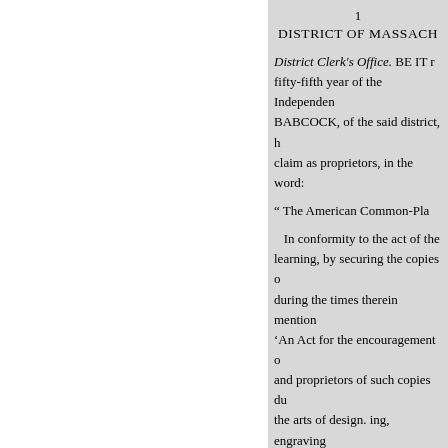1
DISTRICT OF MASSACH
District Clerk's Office. BE IT [remembered, that on the] fifty-fifth year of the Independen[ce...] BABCOCK, of the said district, h[ave] claim as proprietors, in the word[s...]
" The American Common-Pla[ce Book...]
In conformity to the act of the [Congress of the United States, entitled, An Act for the encouragement of] learning, by securing the copies o[f maps, charts, and books, to the authors and proprietors of such copies,] during the times therein mention[ed; and also to an act entitled,] 'An Act for the encouragement o[f learning, by securing the copies of maps, charts, and books, to the authors] and proprietors of such copies du[ring the times therein mentioned; extending the benefits thereof to] the arts of design. ing, engraving[...]
Hiram Tupper, Printer.